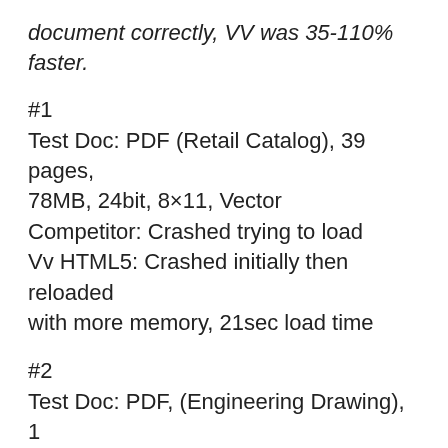document correctly, VV was 35-110% faster.
#1
Test Doc: PDF (Retail Catalog), 39 pages, 78MB, 24bit, 8×11, Vector
Competitor: Crashed trying to load
Vv HTML5: Crashed initially then reloaded with more memory, 21sec load time
#2
Test Doc: PDF, (Engineering Drawing), 1 page, 16MB, 1 bit, 24×36, Raster
Competitor: Crashed trying to load
Vv HTML5: 30 Seconds
#3